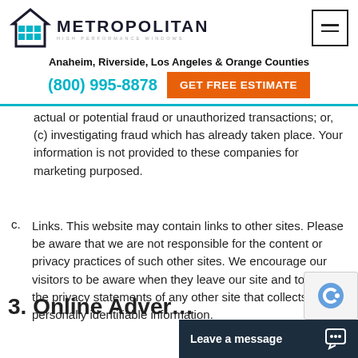[Figure (logo): Metropolitan High Performance Windows logo with teal house/building icon and company name]
Anaheim, Riverside, Los Angeles & Orange Counties
(800) 995-8878
GET FREE ESTIMATE
actual or potential fraud or unauthorized transactions; or, (c) investigating fraud which has already taken place. Your information is not provided to these companies for marketing purposed.
c. Links. This website may contain links to other sites. Please be aware that we are not responsible for the content or privacy practices of such other sites. We encourage our visitors to be aware when they leave our site and to read the privacy statements of any other site that collects personally identifiable information.
3. Online Adver…
Leave a message